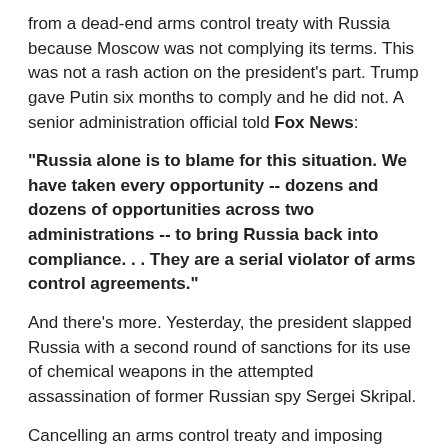from a dead-end arms control treaty with Russia because Moscow was not complying its terms. This was not a rash action on the president's part. Trump gave Putin six months to comply and he did not. A senior administration official told Fox News:
"Russia alone is to blame for this situation. We have taken every opportunity -- dozens and dozens of opportunities across two administrations -- to bring Russia back into compliance. . . They are a serial violator of arms control agreements."
And there's more. Yesterday, the president slapped Russia with a second round of sanctions for its use of chemical weapons in the attempted assassination of former Russian spy Sergei Skripal.
Cancelling an arms control treaty and imposing additional sanctions. Those aren't the actions of "Putin's puppet" or a "Russian asset." Those are the actions of a president who is putting America's national security first.